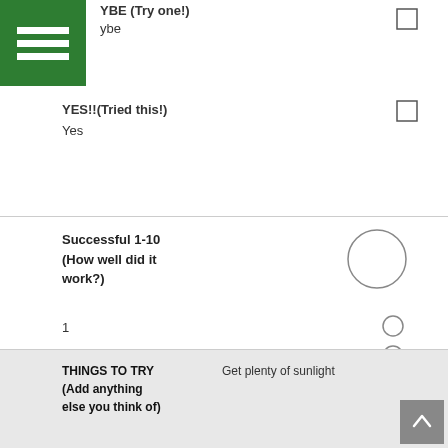YBE (Try one!)
ybe
YES!!(Tried this!)
Yes
Successful 1-10
(How well did it work?)
1
2
3
4
5
6
7
8
9
10
THINGS TO TRY
(Add anything else you think of)
Get plenty of sunlight